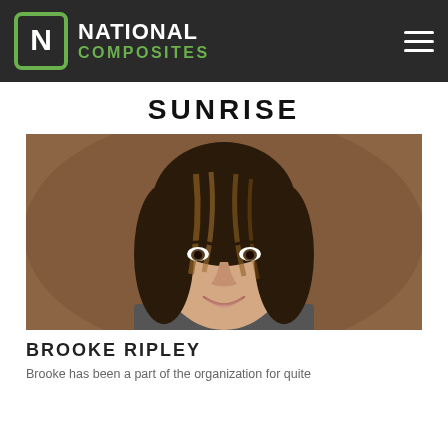National Composites
SUNRISE
[Figure (photo): Professional headshot portrait of Brooke Ripley, a woman with dark brown and highlighted hair, smiling, against a warm brown background.]
BROOKE RIPLEY
Brooke has been a part of the organization for quite